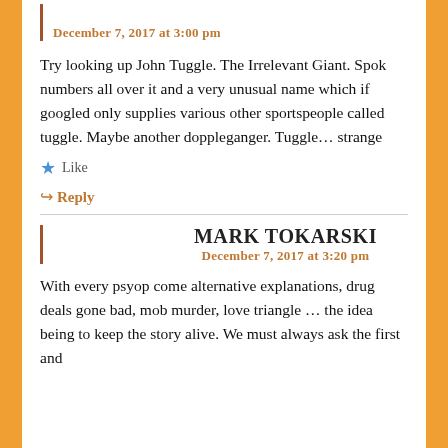[author name cut off]
December 7, 2017 at 3:00 pm
Try looking up John Tuggle. The Irrelevant Giant. Spok numbers all over it and a very unusual name which if googled only supplies various other sportspeople called tuggle. Maybe another doppleganger. Tuggle... strange
Like
Reply
MARK TOKARSKI
December 7, 2017 at 3:20 pm
With every psyop come alternative explanations, drug deals gone bad, mob murder, love triangle ... the idea being to keep the story alive. We must always ask the first and